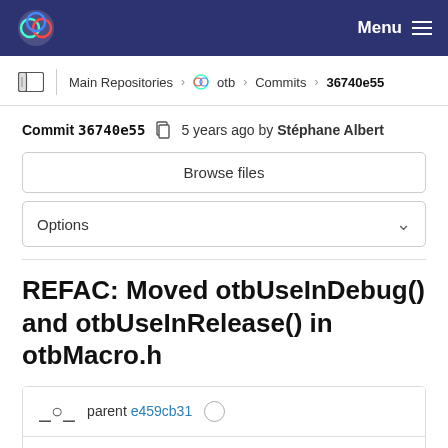Menu
Main Repositories > otb > Commits > 36740e55
Commit 36740e55  5 years ago by Stéphane Albert
Browse files
Options
REFAC: Moved otbUseInDebug() and otbUseInRelease() in otbMacro.h
parent e459cb31